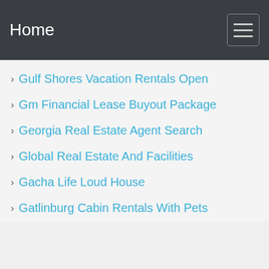Home
Gulf Shores Vacation Rentals Open
Gm Financial Lease Buyout Package
Georgia Real Estate Agent Search
Global Real Estate And Facilities
Gacha Life Loud House
Gatlinburg Cabin Rentals With Pets